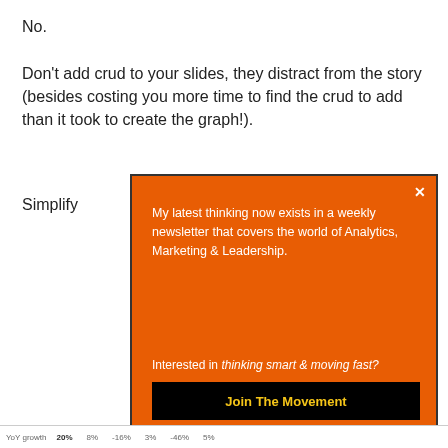No.
Don't add crud to your slides, they distract from the story (besides costing you more time to find the crud to add than it took to create the graph!).
Simplify
[Figure (infographic): Orange modal popup overlay with newsletter signup. Text: 'My latest thinking now exists in a weekly newsletter that covers the world of Analytics, Marketing & Leadership.' Interested in thinking smart & moving fast? Join The Movement button.]
YoY growth    20%    8%    -16%    3%    -46%    5%